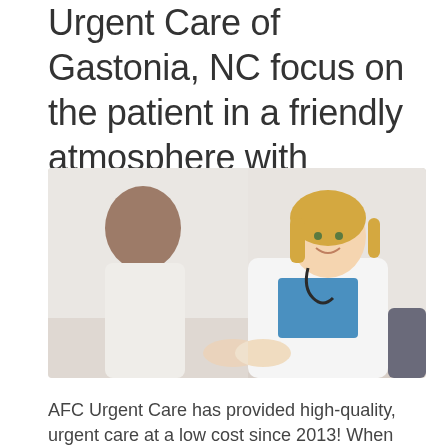Urgent Care of Gastonia, NC focus on the patient in a friendly atmosphere with experienced doctors.
[Figure (photo): A smiling female doctor in a white coat with a stethoscope sitting across from a patient, appearing to hold the patient's hands in a consultation setting.]
AFC Urgent Care has provided high-quality, urgent care at a low cost since 2013! When